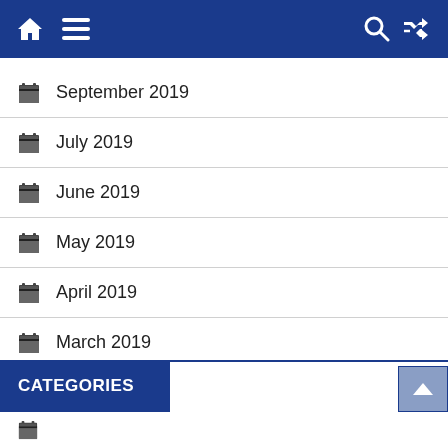Navigation bar with home, menu, search, and shuffle icons
September 2019
July 2019
June 2019
May 2019
April 2019
March 2019
February 2019
January 2019
CATEGORIES